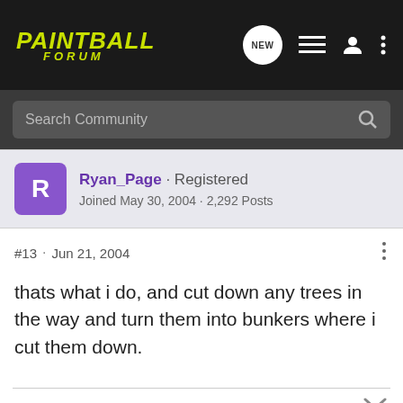PAINTBALL FORUM
Search Community
Ryan_Page · Registered
Joined May 30, 2004 · 2,292 Posts
#13 · Jun 21, 2004
thats what i do, and cut down any trees in the way and turn them into bunkers where i cut them down.
Play - [B2K4] - [Profiler] - [68/45] - [Evil Gear] - [Reloader] - Ball